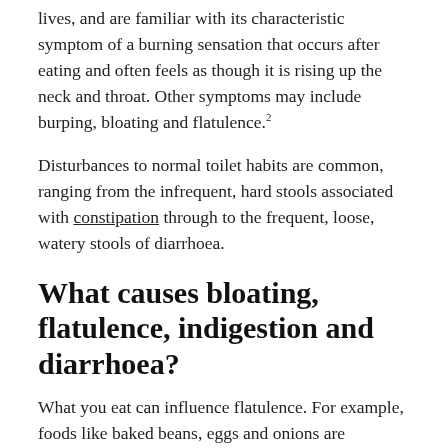lives, and are familiar with its characteristic symptom of a burning sensation that occurs after eating and often feels as though it is rising up the neck and throat. Other symptoms may include burping, bloating and flatulence.²
Disturbances to normal toilet habits are common, ranging from the infrequent, hard stools associated with constipation through to the frequent, loose, watery stools of diarrhoea.
What causes bloating, flatulence, indigestion and diarrhoea?
What you eat can influence flatulence. For example, foods like baked beans, eggs and onions are notorious for being associated with increased gas production and foul-smelling flatulence, which are caused by the high levels of sulfur they contain.
In some people, eating high fibre foods or meals that are rich or spicy can also increase gas production. For others, bowel